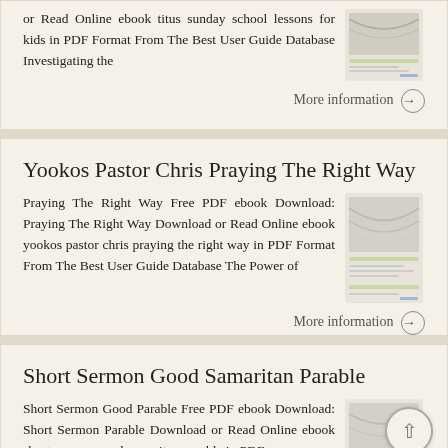or Read Online ebook titus sunday school lessons for kids in PDF Format From The Best User Guide Database Investigating the
More information →
Yookos Pastor Chris Praying The Right Way
Praying The Right Way Free PDF ebook Download: Praying The Right Way Download or Read Online ebook yookos pastor chris praying the right way in PDF Format From The Best User Guide Database The Power of
More information →
Short Sermon Good Samaritan Parable
Short Sermon Good Parable Free PDF ebook Download: Short Sermon Parable Download or Read Online ebook short sermon good samaritan parable in PDF